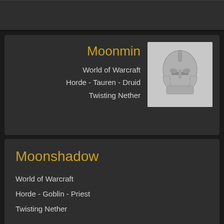[Figure (screenshot): Partial game character card at top of page, dark background, partially visible]
Moonmin
World of Warcraft
Horde - Tauren - Druid
Twisting Nether
[Figure (illustration): Grey placeholder avatar with a helmet/knight illustration]
Moonshadow
World of Warcraft
Horde - Goblin - Priest
Twisting Nether
Moonshine